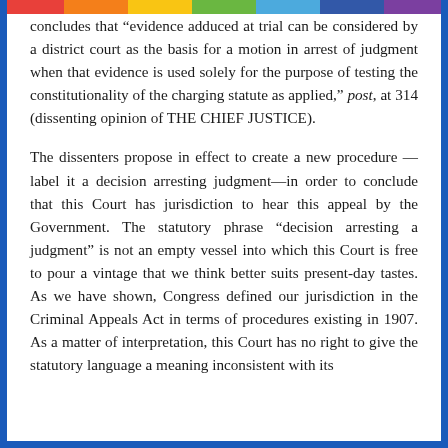concludes that "evidence adduced at trial can be considered by a district court as the basis for a motion in arrest of judgment when that evidence is used solely for the purpose of testing the constitutionality of the charging statute as applied," post, at 314 (dissenting opinion of THE CHIEF JUSTICE).
The dissenters propose in effect to create a new procedure —label it a decision arresting judgment—in order to conclude that this Court has jurisdiction to hear this appeal by the Government. The statutory phrase "decision arresting a judgment" is not an empty vessel into which this Court is free to pour a vintage that we think better suits present-day tastes. As we have shown, Congress defined our jurisdiction in the Criminal Appeals Act in terms of procedures existing in 1907. As a matter of interpretation, this Court has no right to give the statutory language a meaning inconsistent with its